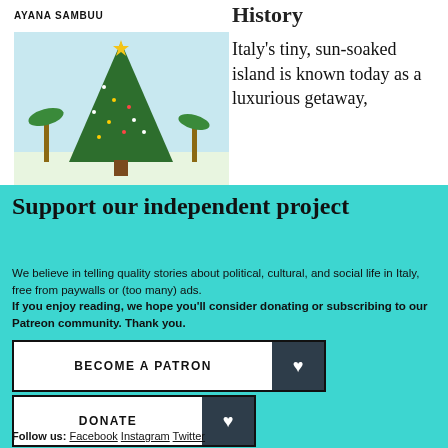AYANA SAMBUU
[Figure (photo): Tall Christmas tree decorated with lights and a star on top, against a light blue sky with palm trees in background]
History
Italy's tiny, sun-soaked island is known today as a luxurious getaway,
Support our independent project
We believe in telling quality stories about political, cultural, and social life in Italy, free from paywalls or (too many) ads. If you enjoy reading, we hope you'll consider donating or subscribing to our Patreon community. Thank you.
BECOME A PATRON
DONATE
Follow us: Facebook Instagram Twitter